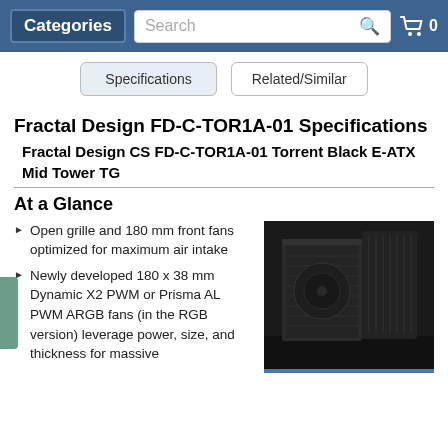Categories | Search | 0
Specifications | Related/Similar
Fractal Design FD-C-TOR1A-01 Specifications
Fractal Design CS FD-C-TOR1A-01 Torrent Black E-ATX Mid Tower TG
At a Glance
Open grille and 180 mm front fans optimized for maximum air intake
Newly developed 180 x 38 mm Dynamic X2 PWM or Prisma AL PWM ARGB fans (in the RGB version) leverage power, size, and thickness for massive
[Figure (photo): Photo of Fractal Design Torrent Black E-ATX Mid Tower TG computer case, showing the front panel with mesh grille and side tempered glass panel on a dark surface]